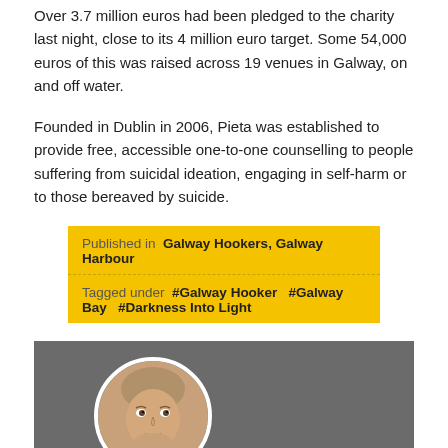Over 3.7 million euros had been pledged to the charity last night, close to its 4 million euro target. Some 54,000 euros of this was raised across 19 venues in Galway, on and off water.
Founded in Dublin in 2006, Pieta was established to provide free, accessible one-to-one counselling to people suffering from suicidal ideation, engaging in self-harm or to those bereaved by suicide.
Published in  Galway Hookers, Galway Harbour
Tagged under  #Galway Hooker  #Galway Bay  #Darkness Into Light
[Figure (photo): Author profile photo — a person's face in a circular white-bordered frame, on a dark grey background]